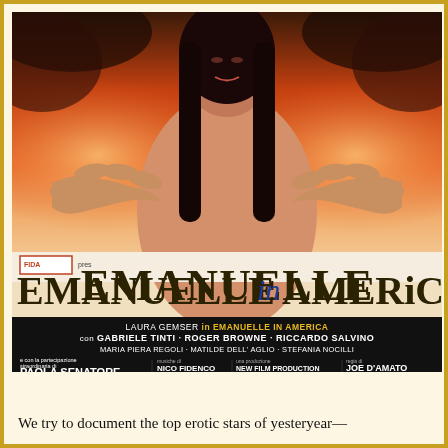[Figure (illustration): Movie poster for 'Emanuelle in America' (FIDA). Shows a woman with long black hair, arms raised with hands open, against an orange/fire background. Large bold title 'EMANUELLE in AMERICA'. Bottom black banner credits: LAURA GEMSER in EMANUELLE IN AMERICA, con GABRIELE TINTI · ROGER BROWNE · RICCARDO SALVINO, MARIA PIERA REGOLI · MATILDE DELL'AGLIO · STEFANIA NOCILLI, e con la partecipazione straordinaria di PAOLA SENATORE, musiche di NICO FIDENCO, una produzione NEW FILM PRODUCTION, regia di JOE D'AMATO, COLORI DELLA TECHNOSPES.]
We try to document the top erotic stars of yesteryear—